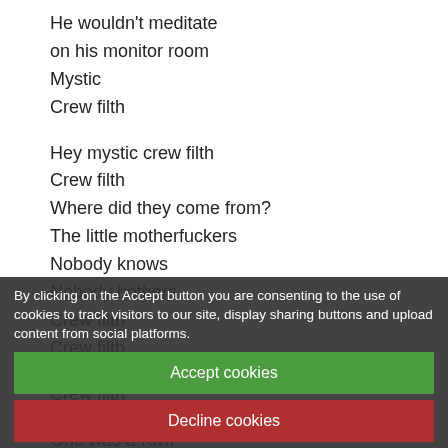He wouldn't meditate
on his monitor room
Mystic
Crew filth

Hey mystic crew filth
Crew filth
Where did they come from?
The little motherfuckers
Nobody knows
Nobody bothers
Crew filth
Crew filth

Crew filth

One was a Kiwi
One was a Bush-baby (5)
One had tattoos on his legs
Some...
Moth...
Crew filth

Crew filth

Crew filth
By clicking on the Accept button you are consenting to the use of cookies to track visitors to our site, display sharing buttons and upload content from social platforms.
Accept cookies
Decline cookies